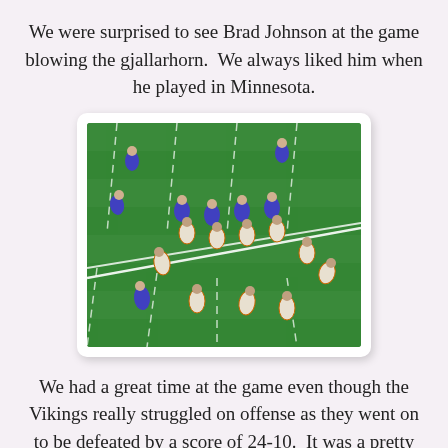We were surprised to see Brad Johnson at the game blowing the gjallarhorn.  We always liked him when he played in Minnesota.
[Figure (photo): Aerial view of a football game in progress on a green turf field, showing players from two teams lined up at the line of scrimmage. Players in blue and white (Vikings) face players in white and orange (Bears).]
We had a great time at the game even though the Vikings really struggled on offense as they went on to be defeated by a score of 24-10.  It was a pretty disappointing way to end the season after the year we had last year, but I guess that's the NFL.